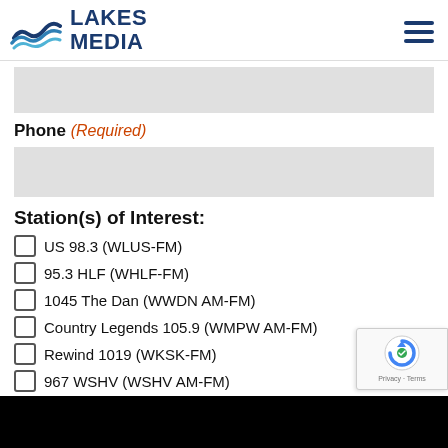[Figure (logo): Lakes Media logo with wave graphic and bold navy text]
Phone (Required)
Station(s) of Interest:
US 98.3 (WLUS-FM)
95.3 HLF (WHLF-FM)
1045 The Dan (WWDN AM-FM)
Country Legends 105.9 (WMPW AM-FM)
Rewind 1019 (WKSK-FM)
967 WSHV (WSHV AM-FM)